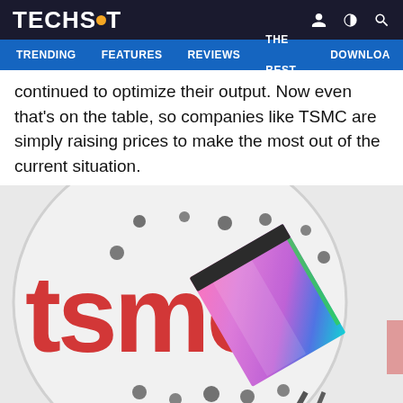TECHSPOT — TRENDING | FEATURES | REVIEWS | THE BEST | DOWNLOA
continued to optimize their output. Now even that's on the table, so companies like TSMC are simply raising prices to make the most out of the current situation.
[Figure (photo): TSMC logo (red text on white circular badge with black dots) in background, blurred, with a semiconductor chip held by tweezers in the foreground showing iridescent pink/purple/green color.]